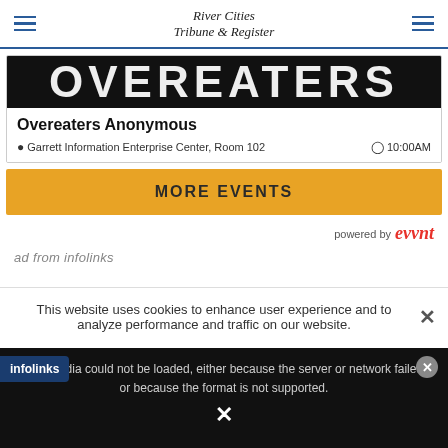River Cities Tribune & Register
[Figure (screenshot): Partially visible banner image showing large white text on dark background spelling OVEREATERS]
Overeaters Anonymous
Garrett Information Enterprise Center, Room 102 · 10:00AM
MORE EVENTS
[Figure (logo): powered by evvnt logo]
This website uses cookies to enhance user experience and to analyze performance and traffic on our website.
The media could not be loaded, either because the server or network failed or because the format is not supported.